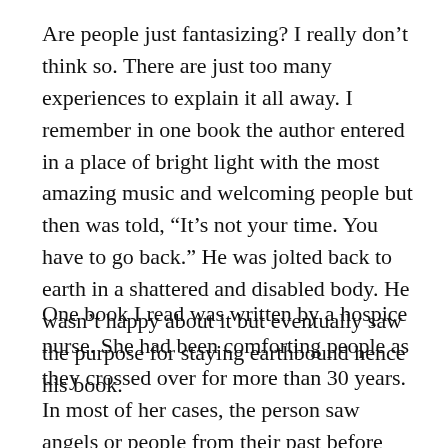Are people just fantasizing? I really don't think so. There are just too many experiences to explain it all away. I remember in one book the author entered in a place of bright light with the most amazing music and welcoming people but then was told, “It’s not your time. You have to go back.” He was jolted back to earth in a shattered and disabled body. He wasn’t happy about it but eventually saw the purpose for staying earthbound hence his book.
One book I read was written by a hospice nurse. She had been comforting people as they crossed over for more than 30 years. In most of her cases, the person saw angels or people from their past before crossing over. She developed a